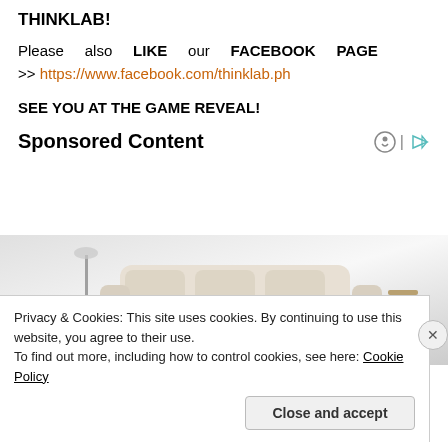THINKLAB!
Please also LIKE our FACEBOOK PAGE >> https://www.facebook.com/thinklab.ph
SEE YOU AT THE GAME REVEAL!
Sponsored Content
[Figure (photo): Advertisement image showing a modern sofa/couch furniture setup with lamps and accessories]
Privacy & Cookies: This site uses cookies. By continuing to use this website, you agree to their use.
To find out more, including how to control cookies, see here: Cookie Policy
Close and accept